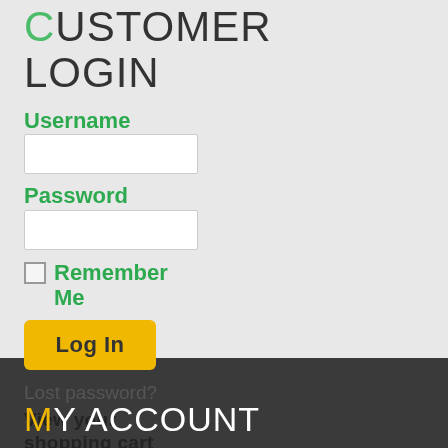CUSTOMER LOGIN
Username
Password
Remember Me
Log In
Lost password?
View your shopping cart
MY ACCOUNT